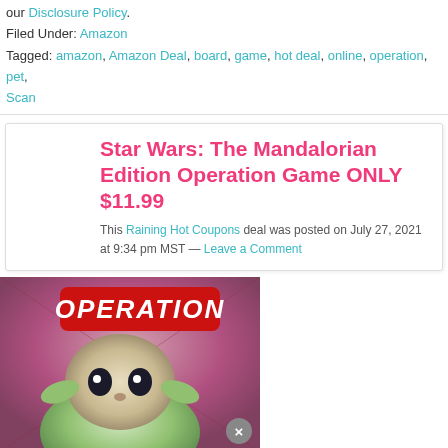our Disclosure Policy.
Filed Under: Amazon
Tagged: amazon, Amazon Deal, board, game, hot deal, online, operation, pet, Scan
Star Wars: The Mandalorian Edition Operation Game ONLY $11.99
This Raining Hot Coupons deal was posted on July 27, 2021 at 9:34 pm MST — Leave a Comment
[Figure (photo): Star Wars: The Mandalorian Edition Operation board game box showing Baby Yoda (Grogu) character with the Operation game branding]